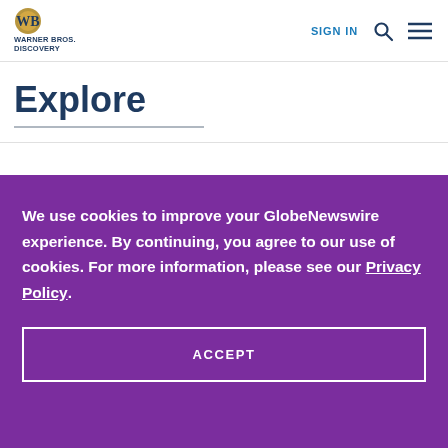WARNER BROS. DISCOVERY | SIGN IN
Explore
We use cookies to improve your GlobeNewswire experience. By continuing, you agree to our use of cookies. For more information, please see our Privacy Policy.
ACCEPT